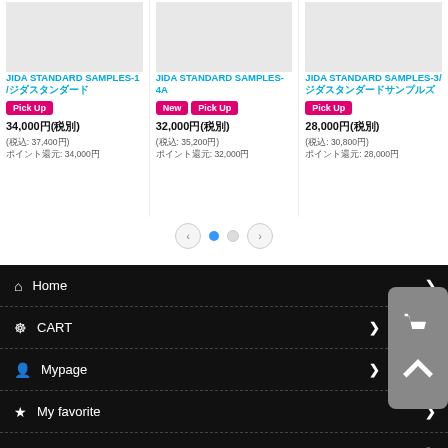[Figure (photo): Product image for JIDA STANDARD SAMPLES-1]
JIDA STANDARD SAMPLES-1 /ジダスタンダード
Pick Up
34,000円(税別)
(税込: 37,400円)
ポイント還元: 34,000円
[Figure (photo): Product image for JIDA STANDARD SAMPLES-4A]
JIDA STANDARD SAMPLES-4A
New  Pick Up
32,000円(税別)
(税込: 35,200円)
ポイント還元: 32,000円
[Figure (photo): Product image for JIDA STANDARD SAMPLES-3]
JIDA STANDARD SAMPLES-3/ジダスタンダードサンプルズ
Pick Up
28,000円(税別)
(税込: 30,800円)
ポイント還元: 28,000円
Home
CART
Mypage
My favorite
Recently checked items